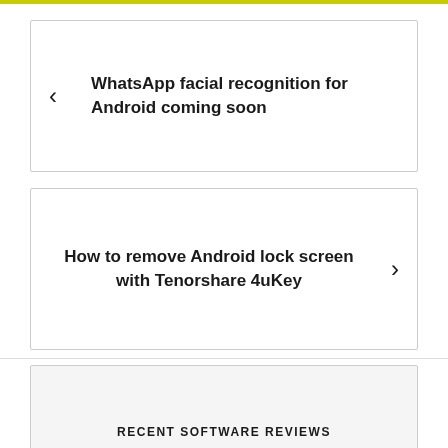WhatsApp facial recognition for Android coming soon
How to remove Android lock screen with Tenorshare 4uKey
RECENT SOFTWARE REVIEWS